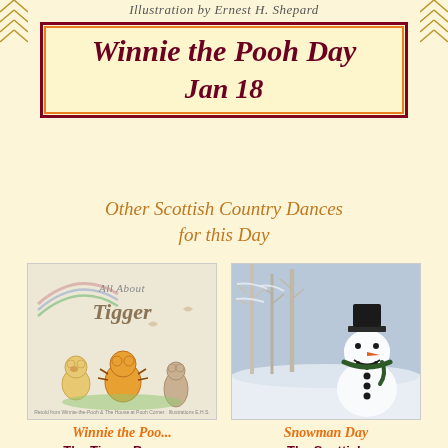Illustration by Ernest H. Shepard
Winnie the Pooh Day
Jan 18
Other Scottish Country Dances for this Day
[Figure (illustration): Book cover of 'All About Tigger' featuring Winnie the Pooh characters including Tigger and Pooh Bear]
Winnie the Poo...
The Tigger Bounce
[Figure (photo): Photograph of a snowman with a hat and scarf, surrounded by snow-covered trees in winter]
Snowman Day
The Scottish Snowman